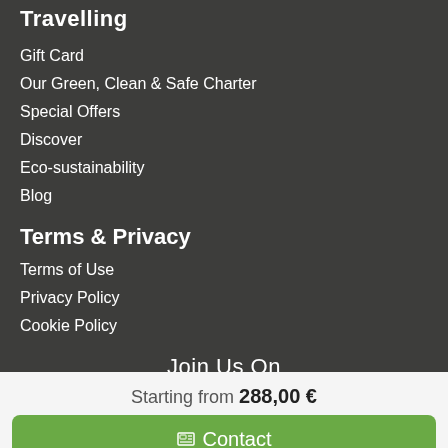Travelling
Gift Card
Our Green, Clean & Safe Charter
Special Offers
Discover
Eco-sustainability
Blog
Terms & Privacy
Terms of Use
Privacy Policy
Cookie Policy
Join Us On
Starting from 288,00 €
Contact